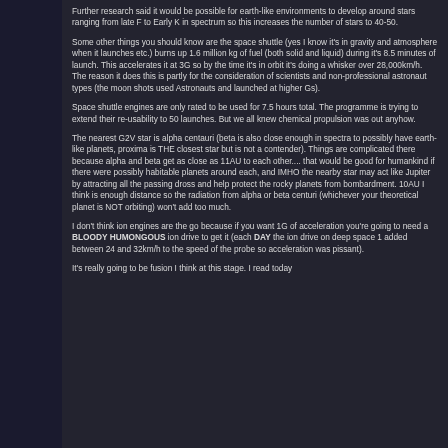Further research said it would be possible for earth-like environments to develop around stars ranging from late F to Early K in spectrum so this increases the number of stars to 40-50.
Some other things you should know are the space shuttle (yes I know it's in gravity and atmosphere when it launches etc.) burns up 1.6 million kg of fuel (both solid and liquid) during it's 8.5 minutes of launch.  This accelerates it at 3G so by the time it's in orbit it's doing a whisker over 28,000km/h. The reason it does this is partly for the consideration of scientists and non-professional astronaut types (the moon shots used Astronauts and launched at higher Gs).
Space shuttle engines are only rated to be used for 7.5 hours total.  The programme is trying to extend their re-usability to 50 launches.  But we all knew chemical propulsion was out anyhow.
The nearest G2V star is alpha centauri (beta is also close enough in spectra to possibly have earth-like planets, proxima is THE closest star but is not a contender).  Things are complicated there because alpha and beta get as close as 11AU to each other....  that would be good for humankind if there were possibly habitable planets around each, and IMHO the nearby star may act like Jupiter by attracting all the passing dross and help protect the rocky planets from bombardment.  10AU I think is enough distance so the radiation from alpha or beta centuri (whichever your theoretical planet is NOT orbiting) won't add too much.
I don't think ion engines are the go because if you want 1G of acceleration you're going to need a BLOODY HUMONGOUS ion drive to get it (each DAY the ion drive on deep space 1 added between 24 and 32km/h to the speed of the probe so acceleration was pissant).
It's really going to be fusion I think at this stage.  I read today